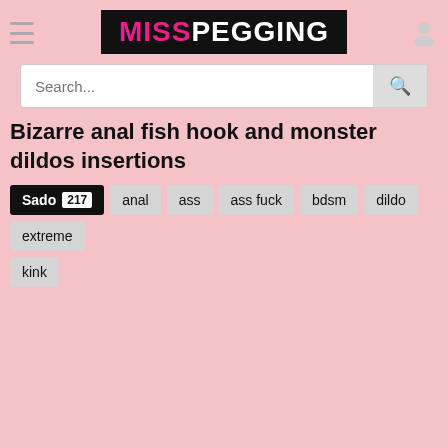MISSPEGGING
Search...
Bizarre anal fish hook and monster dildos insertions
Sado 217
anal
ass
ass fuck
bdsm
dildo
extreme
kink